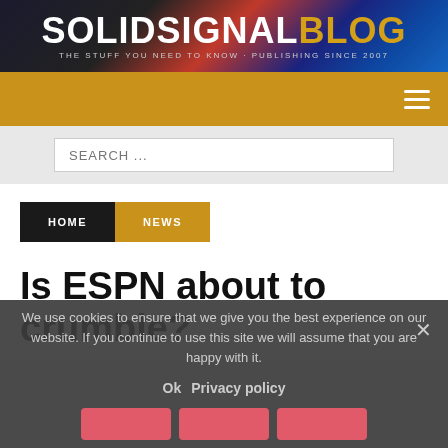[Figure (logo): Solid Signal Blog logo banner with gradient background. Text reads SOLID SIGNAL BLOG with tagline THE STUFF YOU NEED TO KNOW + PUBLISHING SINCE 2007]
Navigation bar with hamburger menu icon
SEARCH ...
HOME
NEWS
Is ESPN about to crumble?
We use cookies to ensure that we give you the best experience on our website. If you continue to use this site we will assume that you are happy with it.
Ok   Privacy policy